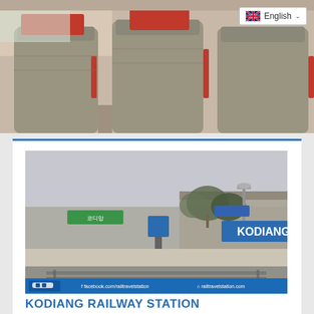[Figure (photo): Interior of a train showing seats with red headrest covers and patterned upholstery, viewed from the aisle. An English language selector button is visible in the top right corner.]
[Figure (photo): Kodiang railway station as seen through a train window. A blue station sign reads KODIANG. Trees and station infrastructure visible in the background. A blue watermark bar at the bottom shows facebook.com/railtravelstation and railtravelstation.com logos.]
KODIANG RAILWAY STATION